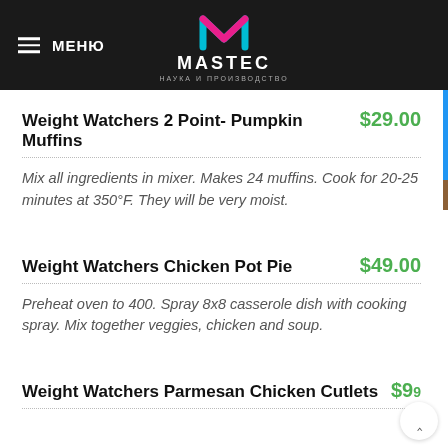МЕНЮ — MASTEC НАУКА И ПРОИЗВОДСТВО
Weight Watchers 2 Point- Pumpkin Muffins  $29.00
Mix all ingredients in mixer. Makes 24 muffins. Cook for 20-25 minutes at 350°F. They will be very moist.
Weight Watchers Chicken Pot Pie  $49.00
Preheat oven to 400. Spray 8x8 casserole dish with cooking spray. Mix together veggies, chicken and soup.
Weight Watchers Parmesan Chicken Cutlets  $99